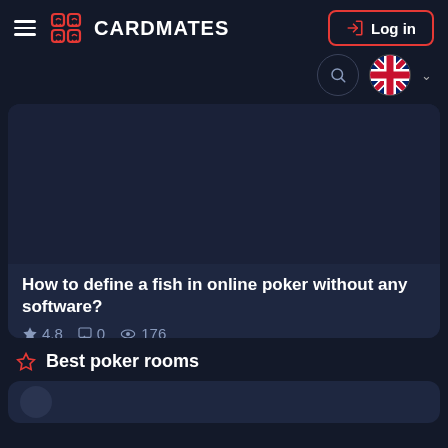CARDMATES — Log in
[Figure (screenshot): Dark article card image area for 'How to define a fish in online poker without any software?']
How to define a fish in online poker without any software?
★ 4.8  ☐ 0  © 176
Best poker rooms